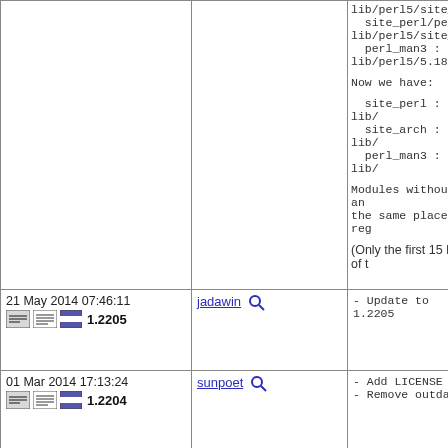| Date/Version | User | Changes |
| --- | --- | --- |
| (continuing row) |  | lib/perl5/site_per
  site_perl/perl_a
lib/perl5/site_per
  perl_man3 :
lib/perl5/5.18/man

Now we have:

  site_perl : lib/
  site_arch : lib/
  perl_man3 : lib/

Modules without ar
the same place reg

(Only the first 15 lines of t |
| 21 May 2014 07:46:11
1.2205 | jadawin | - Update to 1.2205 |
| 01 Mar 2014 17:13:24
1.2204 | sunpoet | - Add LICENSE
- Remove outdated |
| 31 Dec 2013 04:26:21
1.2204 | sunpoet | - Update to 1.2204

Changes:
http://search.cpar
Simple/Changes |
| 10 Oct 2013 07:11:09 | sunpoet | - Update to 1.2203 |